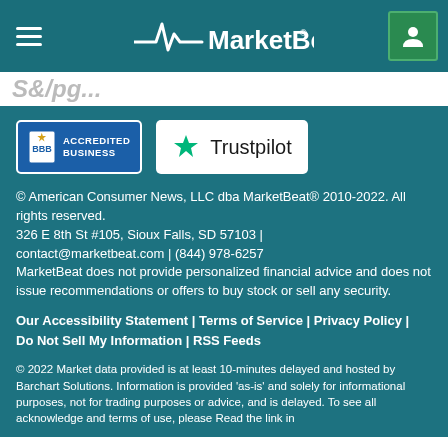MarketBeat
[Figure (logo): BBB Accredited Business badge and Trustpilot badge]
© American Consumer News, LLC dba MarketBeat® 2010-2022. All rights reserved.
326 E 8th St #105, Sioux Falls, SD 57103 | contact@marketbeat.com | (844) 978-6257
MarketBeat does not provide personalized financial advice and does not issue recommendations or offers to buy stock or sell any security.
Our Accessibility Statement | Terms of Service | Privacy Policy | Do Not Sell My Information | RSS Feeds
© 2022 Market data provided is at least 10-minutes delayed and hosted by Barchart Solutions. Information is provided 'as-is' and solely for informational purposes, not for trading purposes or advice, and is delayed. To see all acknowledge and terms of use, please Read the link in